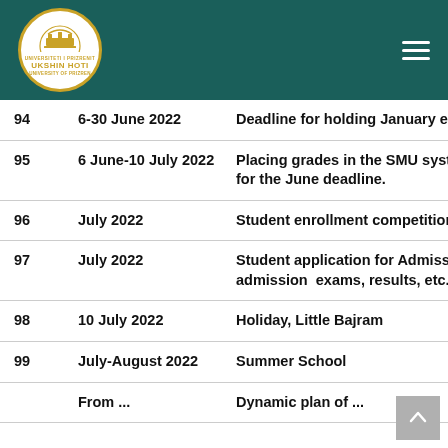[Figure (logo): University of Prizren Ukshin Hoti circular logo in gold and white on dark teal header background]
| # | Date | Description |
| --- | --- | --- |
| 94 | 6-30 June 2022 | Deadline for holding January exams. |
| 95 | 6 June-10 July 2022 | Placing grades in the SMU system for the June deadline. |
| 96 | July 2022 | Student enrollment competition |
| 97 | July 2022 | Student application for Admission , admission  exams, results, etc. |
| 98 | 10 July 2022 | Holiday, Little Bajram |
| 99 | July-August 2022 | Summer School |
|  | From ... | Dynamic plan of ... |